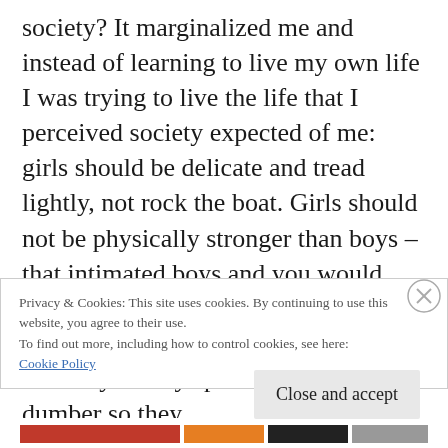society? It marginalized me and instead of learning to live my own life I was trying to live the life that I perceived society expected of me: girls should be delicate and tread lightly, not rock the boat. Girls should not be physically stronger than boys – that intimated boys and you would never get a boyfriend that way. Girls should not be intellectually smarter than boys – boys preferred their girls dumber so they
Privacy & Cookies: This site uses cookies. By continuing to use this website, you agree to their use.
To find out more, including how to control cookies, see here: Cookie Policy
Close and accept